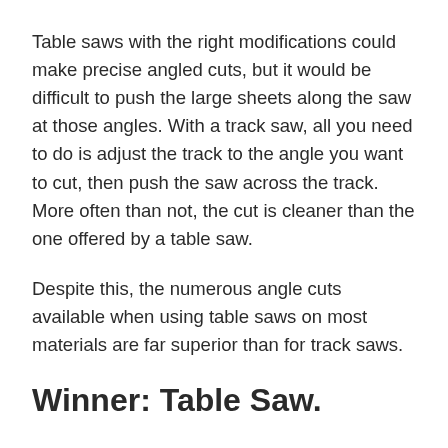Table saws with the right modifications could make precise angled cuts, but it would be difficult to push the large sheets along the saw at those angles. With a track saw, all you need to do is adjust the track to the angle you want to cut, then push the saw across the track. More often than not, the cut is cleaner than the one offered by a table saw.
Despite this, the numerous angle cuts available when using table saws on most materials are far superior than for track saws.
Winner: Table Saw.